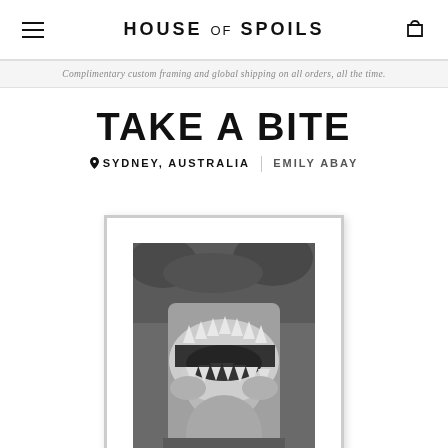HOUSE of SPOILS
Complimentary custom framing and global shipping on all orders, all the time.
TAKE A BITE
SYDNEY, AUSTRALIA  |  EMILY ABAY
[Figure (photo): Black and white photograph in a white frame showing a woman holding open a large shark jaw in front of her torso, photographed from neck to waist]